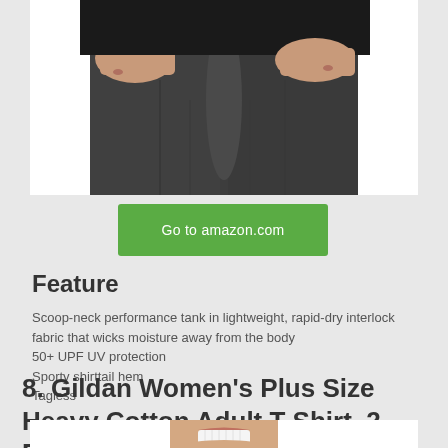[Figure (photo): Cropped photo of a woman wearing dark charcoal gray leggings and a black top, showing torso and hands area]
Go to amazon.com
Feature
Scoop-neck performance tank in lightweight, rapid-dry interlock fabric that wicks moisture away from the body
50+ UPF UV protection
Sporty shirttail hem
Tagless
8. Gildan Women's Plus Size Heavy Cotton Adult T-Shirt, 2-Pack, Black, 3X-Large
[Figure (photo): Cropped photo of a woman smiling, showing only the lower face and neck area]